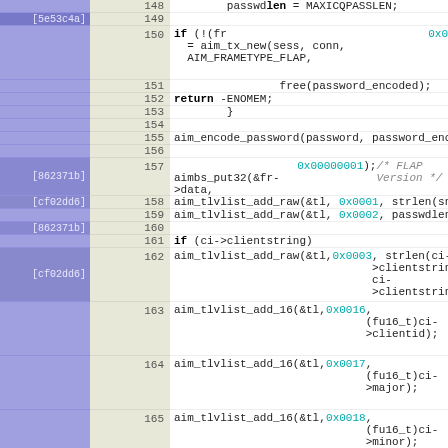[Figure (screenshot): Source code viewer showing C code with git blame annotations (commit hashes), line numbers, and syntax-highlighted code lines 148-167]